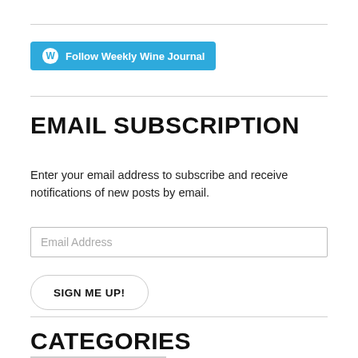[Figure (logo): WordPress Follow button with cyan background reading 'Follow Weekly Wine Journal']
EMAIL SUBSCRIPTION
Enter your email address to subscribe and receive notifications of new posts by email.
Email Address
SIGN ME UP!
CATEGORIES